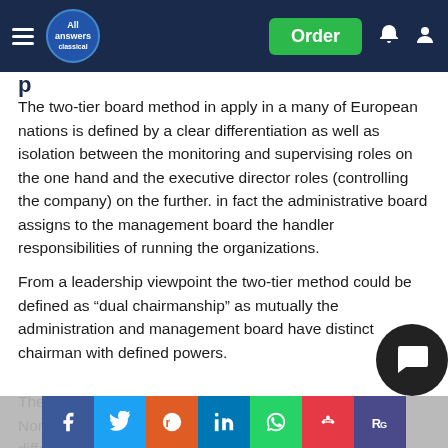All Answers | Order
p
The two-tier board method in apply in a many of European nations is defined by a clear differentiation as well as isolation between the monitoring and supervising roles on the one hand and the executive director roles (controlling the company) on the further. in fact the administrative board assigns to the management board the handler responsibilities of running the organizations.
From a leadership viewpoint the two-tier method could be defined as “dual chairmanship” as mutually the administration and management board have distinct chairman with defined powers.
The semi- two-tier method current in almost of Northern European Union suggestions a more dilute differentiation between t... are more quicker in its functional than the formal two-tier method